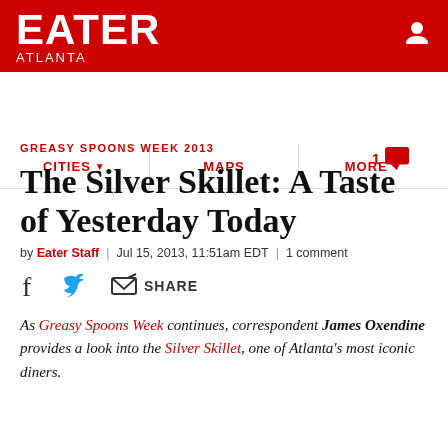EATER ATLANTA
CITIES | MAPS | MORE
GREASY SPOONS WEEK 2013
The Silver Skillet: A Taste of Yesterday Today
by Eater Staff | Jul 15, 2013, 11:51am EDT | 1 comment
[Figure (infographic): Social sharing icons: Facebook, Twitter, and Share buttons]
As Greasy Spoons Week continues, correspondent James Oxendine provides a look into the Silver Skillet, one of Atlanta's most iconic diners.